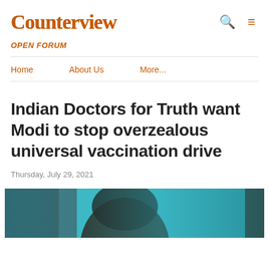Counterview
OPEN FORUM
Home
About Us
More...
Indian Doctors for Truth want Modi to stop overzealous universal vaccination drive
Thursday, July 29, 2021
[Figure (photo): Photograph showing a person from behind, with teal/turquoise background curtain, partial view of a dark-haired individual]